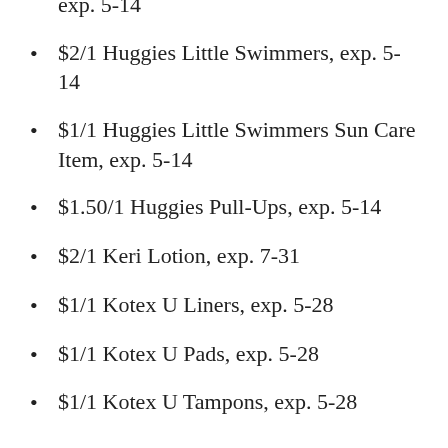exp. 5-14
$2/1 Huggies Little Swimmers, exp. 5-14
$1/1 Huggies Little Swimmers Sun Care Item, exp. 5-14
$1.50/1 Huggies Pull-Ups, exp. 5-14
$2/1 Keri Lotion, exp. 7-31
$1/1 Kotex U Liners, exp. 5-28
$1/1 Kotex U Pads, exp. 5-28
$1/1 Kotex U Tampons, exp. 5-28